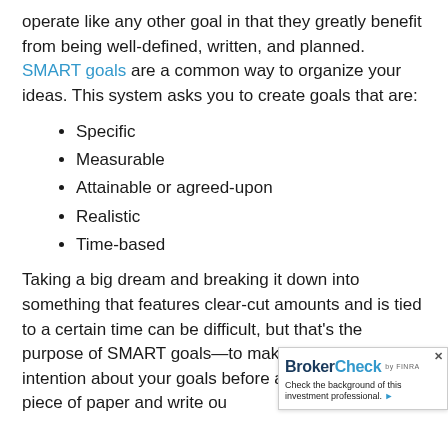operate like any other goal in that they greatly benefit from being well-defined, written, and planned. SMART goals are a common way to organize your ideas. This system asks you to create goals that are:
Specific
Measurable
Attainable or agreed-upon
Realistic
Time-based
Taking a big dream and breaking it down into something that features clear-cut amounts and is tied to a certain time can be difficult, but that's the purpose of SMART goals—to make you think with intention about your goals before agreei… Take a blank piece of paper and write ou…
[Figure (other): BrokerCheck by FINRA badge/widget with text 'Check the background of this investment professional.' and a close button.]